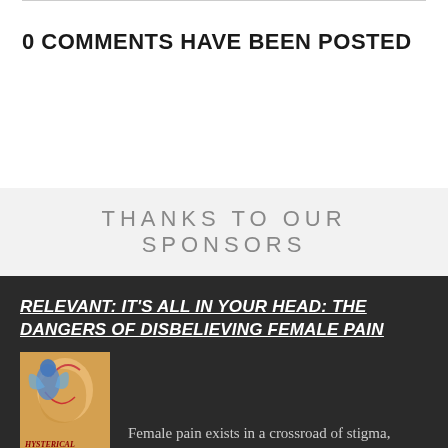0 COMMENTS HAVE BEEN POSTED
THANKS TO OUR SPONSORS
RELEVANT: IT'S ALL IN YOUR HEAD: THE DANGERS OF DISBELIEVING FEMALE PAIN
[Figure (illustration): Book cover thumbnail for 'Hysterical' showing a stylized figure with blue and orange tones]
Female pain exists in a crossroad of stigma, disbelief, and misogyny.